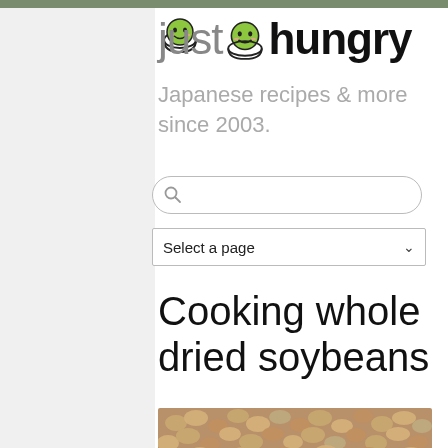justhungry
Japanese recipes & more since 2003.
[Figure (screenshot): Search input box with magnifying glass icon]
Select a page
Cooking whole dried soybeans
[Figure (photo): Close-up photograph of whole dried soybeans, brownish-tan colored beans piled together]